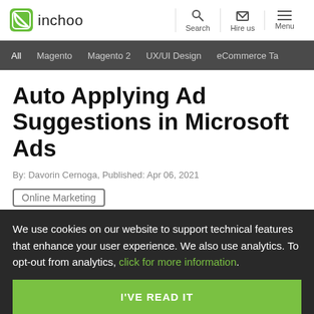inchoo | Search | Hire us | Menu
All | Magento | Magento 2 | UX/UI Design | eCommerce Ta…
Auto Applying Ad Suggestions in Microsoft Ads
By: Davorin Cernoga, Published: Apr 06, 2021
Online Marketing
We use cookies on our website to support technical features that enhance your user experience. We also use analytics. To opt-out from analytics, click for more information.
I'VE READ IT